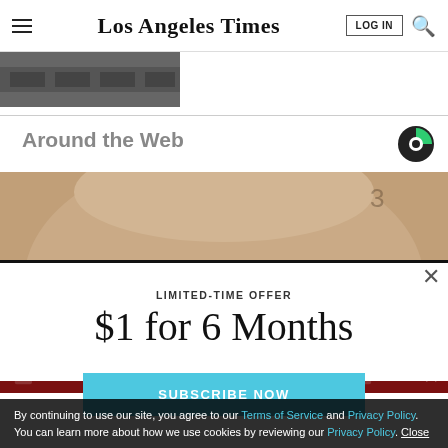Los Angeles Times
[Figure (photo): Partial image of trucks or vehicles, cropped at top of page]
Around the Web
[Figure (logo): Tabula logo — green and dark circle icon]
[Figure (photo): Close-up of a person's forehead/face, partial view from ad]
LIMITED-TIME OFFER
$1 for 6 Months
SUBSCRIBE NOW
By continuing to use our site, you agree to our Terms of Service and Privacy Policy. You can learn more about how we use cookies by reviewing our Privacy Policy. Close